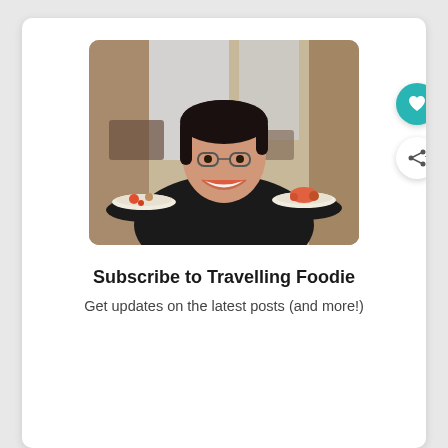[Figure (photo): A smiling Asian man holding two plates of seafood food in a restaurant setting. He is wearing glasses and a dark shirt. The background shows a warmly lit restaurant interior.]
Subscribe to Travelling Foodie
Get updates on the latest posts (and more!)